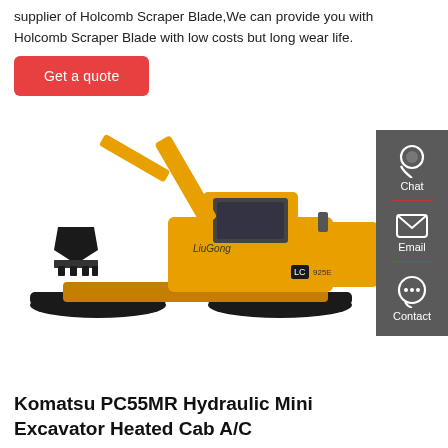supplier of Holcomb Scraper Blade,We can provide you with Holcomb Scraper Blade with low costs but long wear life.
[Figure (other): Red 'Get a quote' button]
[Figure (photo): LiuGong 925E yellow excavator on white background]
[Figure (other): Dark grey sidebar with Chat, Email, and Contact icons]
Komatsu PC55MR Hydraulic Mini Excavator Heated Cab A/C